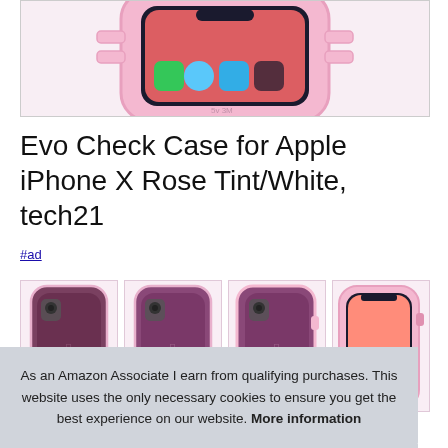[Figure (photo): Pink iPhone X in a rose tint protective case showing app icons on screen, top portion visible]
Evo Check Case for Apple iPhone X Rose Tint/White, tech21
#ad
[Figure (photo): Four thumbnail images of the iPhone X in rose tint/white Evo Check case showing back and front views]
As an Amazon Associate I earn from qualifying purchases. This website uses the only necessary cookies to ensure you get the best experience on our website. More information